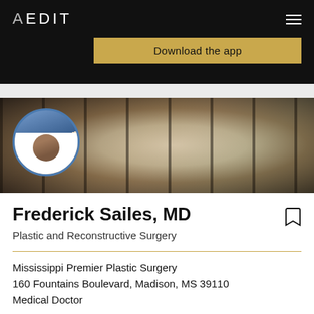AEDIT
Download the app
[Figure (photo): Banner showing a modern clinic interior with dark-framed floor-to-ceiling windows, plants, and seating area. A circular profile photo of Dr. Frederick Sailes in a white coat is overlaid on the left side.]
Frederick Sailes, MD
Plastic and Reconstructive Surgery
Mississippi Premier Plastic Surgery
160 Fountains Boulevard, Madison, MS 39110
Medical Doctor